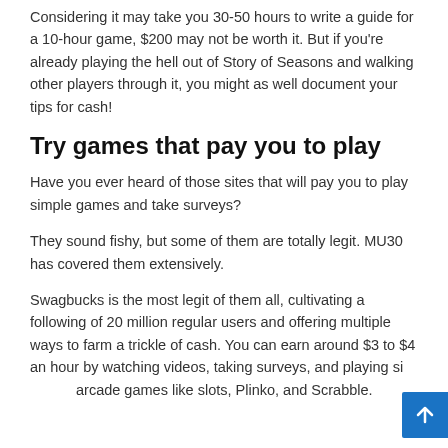Considering it may take you 30-50 hours to write a guide for a 10-hour game, $200 may not be worth it. But if you're already playing the hell out of Story of Seasons and walking other players through it, you might as well document your tips for cash!
Try games that pay you to play
Have you ever heard of those sites that will pay you to play simple games and take surveys?
They sound fishy, but some of them are totally legit. MU30 has covered them extensively.
Swagbucks is the most legit of them all, cultivating a following of 20 million regular users and offering multiple ways to farm a trickle of cash. You can earn around $3 to $4 an hour by watching videos, taking surveys, and playing simple arcade games like slots, Plinko, and Scrabble.